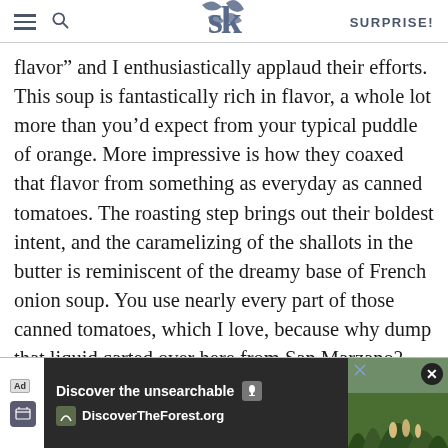SK | SURPRISE!
flavor” and I enthusiastically applaud their efforts. This soup is fantastically rich in flavor, a whole lot more than you’d expect from your typical puddle of orange. More impressive is how they coaxed that flavor from something as everyday as canned tomatoes. The roasting step brings out their boldest intent, and the caramelizing of the shallots in the butter is reminiscent of the dreamy base of French onion soup. You use nearly every part of those canned tomatoes, which I love, because why dump that liquid carted over here from San Marzano? It’s the least you owe your food miles. I’m sure tomato soups can be made with far fewer steps – and admit to tossing the directions to the wind in step three – but I doubt they’re as layered in complexity...
[Figure (screenshot): Ad overlay at bottom: Discover the unsearchable / DiscoverTheForest.org with forest photo and close button]